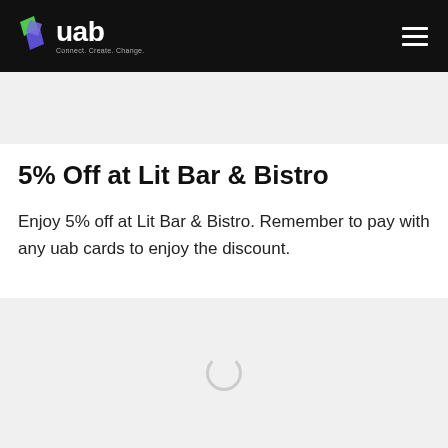[Figure (logo): UAB bank logo with colorful geometric icon and text 'uab Connect. Create. Change.' on black header bar with hamburger menu icon]
[Figure (other): Gray placeholder band below header]
5% Off at Lit Bar & Bistro
Enjoy 5% off at Lit Bar & Bistro. Remember to pay with any uab cards to enjoy the discount.
[Figure (other): Gray content loading area with spinner circle indicator]